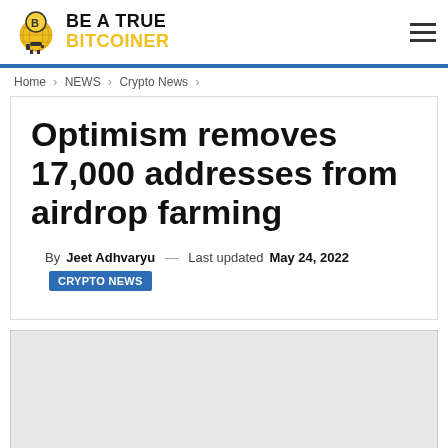BE A TRUE BITCOINER
Home > NEWS > Crypto News >
Optimism removes 17,000 addresses from airdrop farming
By Jeet Adhvaryu — Last updated May 24, 2022 CRYPTO NEWS
[Figure (other): Advertisement placeholder (gray box)]